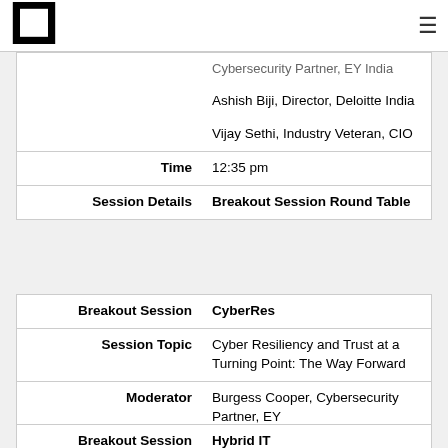[Logo] [Hamburger menu]
|  | Cybersecurity Partner, EY India |
|  | Ashish Biji, Director, Deloitte India |
|  | Vijay Sethi, Industry Veteran, CIO |
| Time | 12:35 pm |
| Session Details | Breakout Session Round Table |
| Breakout Session | CyberRes |
| Session Topic | Cyber Resiliency and Trust at a Turning Point: The Way Forward |
| Moderator | Burgess Cooper, Cybersecurity Partner, EY |
| Breakout Session | Hybrid IT |